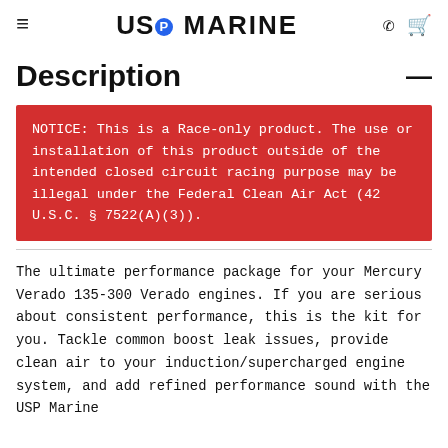USP Marine
Description
NOTICE: This is a Race-only product. The use or installation of this product outside of the intended closed circuit racing purpose may be illegal under the Federal Clean Air Act (42 U.S.C. § 7522(A)(3)).
The ultimate performance package for your Mercury Verado 135-300 Verado engines. If you are serious about consistent performance, this is the kit for you. Tackle common boost leak issues, provide clean air to your induction/supercharged engine system, and add refined performance sound with the USP Marine